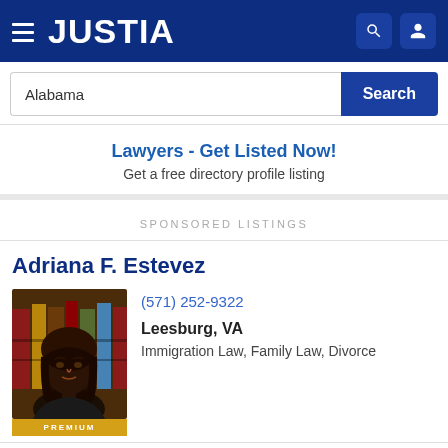JUSTIA
Alabama
Search
Lawyers - Get Listed Now!
Get a free directory profile listing
SPONSORED LISTINGS
Adriana F. Estevez
[Figure (photo): Professional headshot of lawyer Adriana F. Estevez with brown hair, with PREMIUM badge at bottom]
(571) 252-9322
Leesburg, VA
Immigration Law, Family Law, Divorce
Website    Call    Email